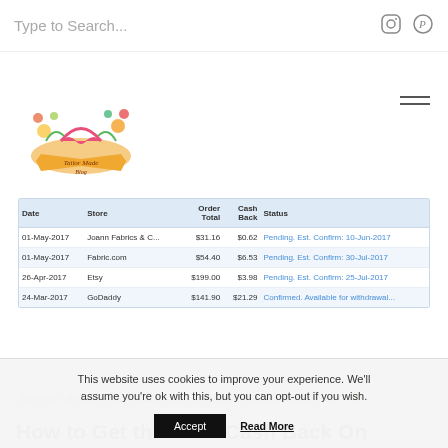Type to Search...
[Figure (logo): Tailor Made Blog logo with illustrated pink bralette and flowers]
| Date | Store | Order Total | Cash Back | Status |
| --- | --- | --- | --- | --- |
| 01-May-2017 | Joann Fabrics & C... | $31.16 | $0.62 | Pending. Est. Confirm: 10-Jun-2017 |
| 01-May-2017 | Fabric.com | $54.40 | $6.53 | Pending. Est. Confirm: 30-Jul-2017 |
| 26-Apr-2017 | Etsy | $199.00 | $3.98 | Pending. Est. Confirm: 25-Jul-2017 |
| 24-Mar-2017 | GoDaddy | $141.90 | $21.29 | Confirmed. Available for withdrawal... |
So yes, I do think cash back sites are worth that tiny extra effort. 🙂
How to Get the Most Cash Back On
This website uses cookies to improve your experience. We'll assume you're ok with this, but you can opt-out if you wish.
Accept   Read More